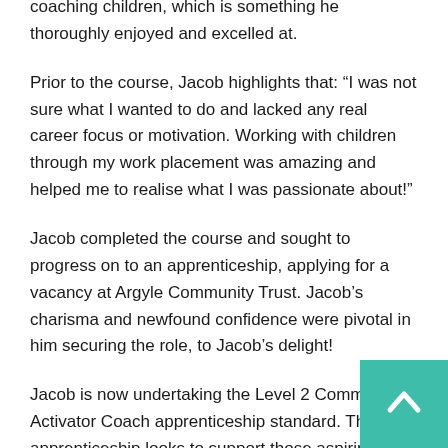coaching children, which is something he thoroughly enjoyed and excelled at.
Prior to the course, Jacob highlights that: “I was not sure what I wanted to do and lacked any real career focus or motivation. Working with children through my work placement was amazing and helped me to realise what I was passionate about!”
Jacob completed the course and sought to progress on to an apprenticeship, applying for a vacancy at Argyle Community Trust. Jacob’s charisma and newfound confidence were pivotal in him securing the role, to Jacob’s delight!
Jacob is now undertaking the Level 2 Community Activator Coach apprenticeship standard. The apprenticeship looks to support those aspiring to a career in the sport or education sectors, through working with children across both school and community sports.